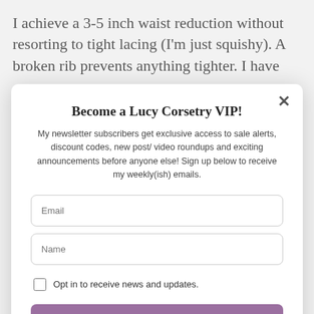I achieve a 3-5 inch waist reduction without resorting to tight lacing (I'm just squishy). A broken rib prevents anything tighter. I have
Become a Lucy Corsetry VIP!
My newsletter subscribers get exclusive access to sale alerts, discount codes, new post/ video roundups and exciting announcements before anyone else! Sign up below to receive my weekly(ish) emails.
Email
Name
Opt in to receive news and updates.
SUBSCRIBE